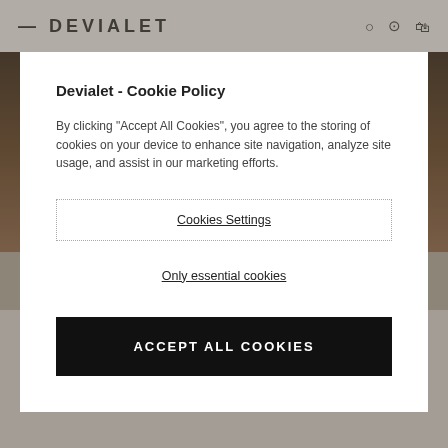DEVIALET
Devialet - Cookie Policy
By clicking "Accept All Cookies", you agree to the storing of cookies on your device to enhance site navigation, analyze site usage, and assist in our marketing efforts.
Cookies Settings
Only essential cookies
ACCEPT ALL COOKIES
WHAT IS SAM FOR TAD EVOLUTION 1
SAM® Speaker Active Matching works by recognizing the exact specs of your speakers. So